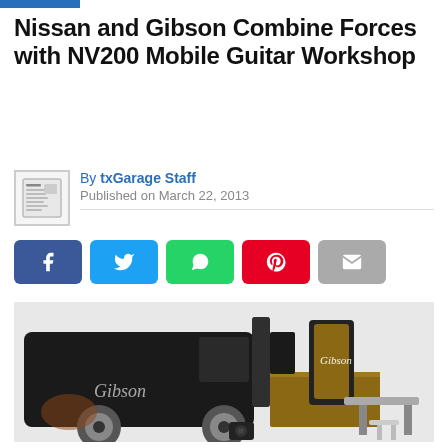Nissan and Gibson Combine Forces with NV200 Mobile Guitar Workshop
By txGarage Staff
Published on March 22, 2013
[Figure (infographic): Social sharing buttons: Facebook (blue), Twitter (cyan), WhatsApp (green), Pinterest (red), Email (gray)]
[Figure (photo): Rendering of a Nissan NV200 van branded with Gibson guitar logos, with rear doors open revealing a wooden guitar workshop interior with workbench and stool]